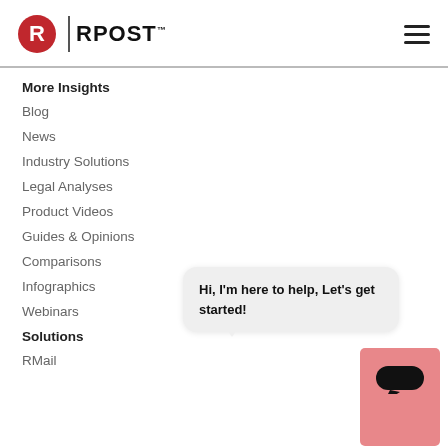RPost logo and navigation hamburger menu
More Insights
Blog
News
Industry Solutions
Legal Analyses
Product Videos
Guides & Opinions
Comparisons
Infographics
Webinars
Solutions
RMail
Hi, I'm here to help, Let's get started!
[Figure (other): Pink chat support button with speech bubble icon]